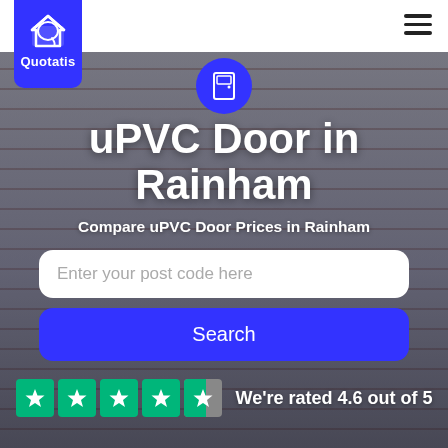[Figure (logo): Quotatis logo — white house icon on blue badge shape with text 'Quotatis']
uPVC Door in Rainham
Compare uPVC Door Prices in Rainham
Enter your post code here
Search
We're rated 4.6 out of 5